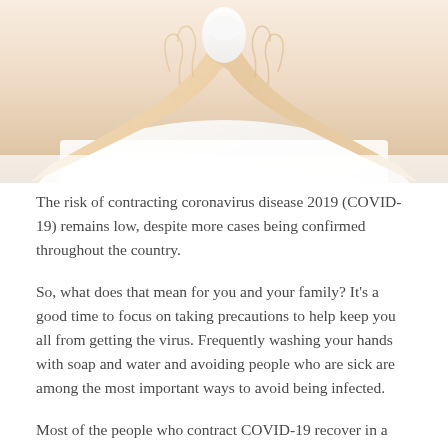[Figure (photo): Close-up photo of a person in a white shirt holding a tissue to their nose/mouth with both hands, showing hands and wrists against a light background]
The risk of contracting coronavirus disease 2019 (COVID-19) remains low, despite more cases being confirmed throughout the country.
So, what does that mean for you and your family? It's a good time to focus on taking precautions to help keep you all from getting the virus. Frequently washing your hands with soap and water and avoiding people who are sick are among the most important ways to avoid being infected.
Most of the people who contract COVID-19 recover in a matter of days, oftentimes at home, according to health officials. There